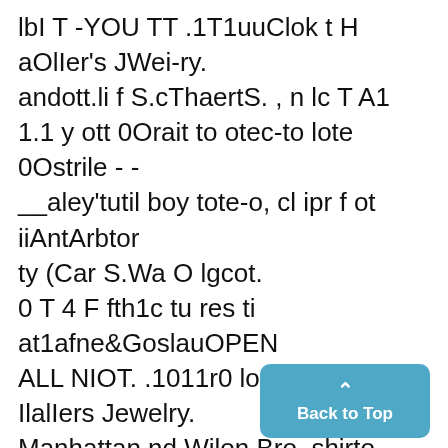lbI T -YOU TT .1T1uuClok t H aOlIer's JWei-ry. andott.li f S.cThaertS. , n lc T A1 1.1 y ott 0Orait to otec-to lote 0Ostrile - - __aley'tutil boy tote-o, cl ipr f ot iiAntArbtor ty (Car S.Wa O lgcot. 0 T 4 F fth1c tu res ti at1afne&GoslauOPEN ALL NIOT. .1011r0 looeks oil IlalIers Jewelry. Manhattan nd Wilon Bro. shirto S5JRNSTTw asraa~a~akllaa or sale a1 Wadhbams, Ityan & Rele. D E T S 1 c st $: bot cmadoe is lie Itotoaro. __ -- _______ 0. M MATIN 00 tal0tyan & teole sole a nto.10100l trin Clo tHal isotewlrondo
Back to Top